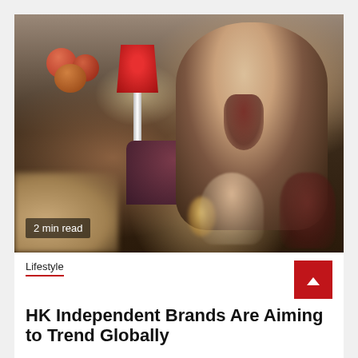[Figure (photo): Woman drinking red wine at a candlelit dinner table with wine glasses, a candle, and a red lamp in the background. Overlay text reads '2 min read'.]
Lifestyle
HK Independent Brands Are Aiming to Trend Globally